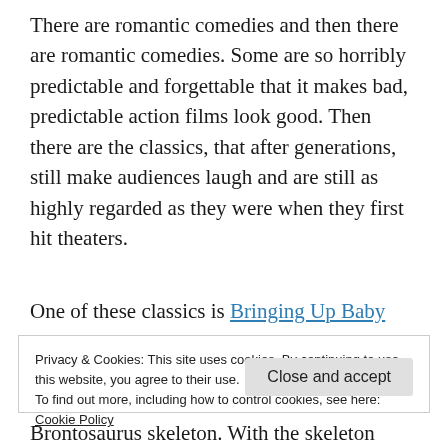There are romantic comedies and then there are romantic comedies. Some are so horribly predictable and forgettable that it makes bad, predictable action films look good. Then there are the classics, that after generations, still make audiences laugh and are still as highly regarded as they were when they first hit theaters.
One of these classics is Bringing Up Baby
Privacy & Cookies: This site uses cookies. By continuing to use this website, you agree to their use.
To find out more, including how to control cookies, see here: Cookie Policy
Close and accept
Brontosaurus skeleton. With the skeleton